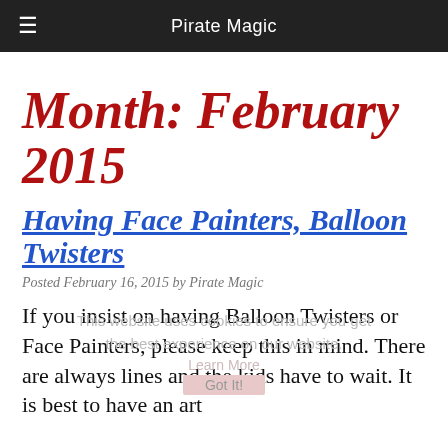≡   Pirate Magic
Month: February 2015
Having Face Painters, Balloon Twisters
Posted February 16, 2015 by Pirate Magic
If you insist on having Balloon Twisters or Face Painters, please keep this in mind. There are always lines and the kids have to wait. It is best to have an art